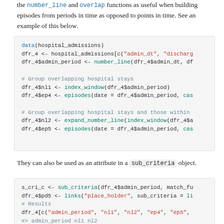the number_line and overlap functions as useful when building episodes from periods in time as opposed to points in time. See an example of this below.
data(hospital_admissions)
dfr_4 <- hospital_admissions[c("admin_dt", "discharg
dfr_4$admin_period <- number_line(dfr_4$admin_dt, df

# Group overlapping hospital stays
dfr_4$nl1 <- index_window(dfr_4$admin_period)
dfr_4$ep4 <- episodes(date = dfr_4$admin_period, cas

# Group overlapping hospital stays and those within
dfr_4$nl2 <- expand_number_line(index_window(dfr_4$a
dfr_4$ep5 <- episodes(date = dfr_4$admin_period, cas
They can also be used as an attribute in a sub_criteria object.
s_cri_c <- sub_criteria(dfr_4$admin_period, match_fu
dfr_4$pd5 <- links("place_holder", sub_criteria = li
# Results
dfr_4[c("admin_period", "nl1", "nl2", "ep4", "ep5",
#>                admin_period       nl1       nl2
#> 1  2019-01-01 == 2019-01-01   0 == 0   0 -> 20 E.